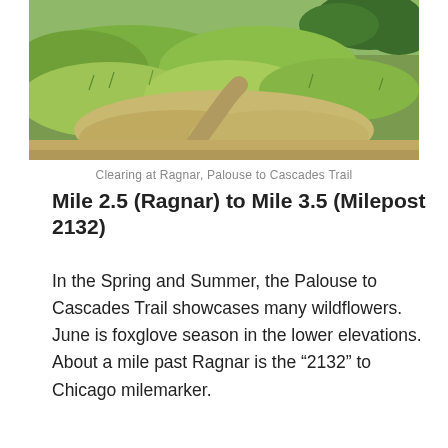[Figure (photo): Photograph of a clearing with grassy terrain and a dirt path at Ragnar on the Palouse to Cascades Trail. Green trees visible in the background, dry grassy areas in the foreground.]
Clearing at Ragnar, Palouse to Cascades Trail
Mile 2.5 (Ragnar) to Mile 3.5 (Milepost 2132)
In the Spring and Summer, the Palouse to Cascades Trail showcases many wildflowers.  June is foxglove season in the lower elevations.  About a mile past Ragnar is the “2132” to Chicago milemarker.